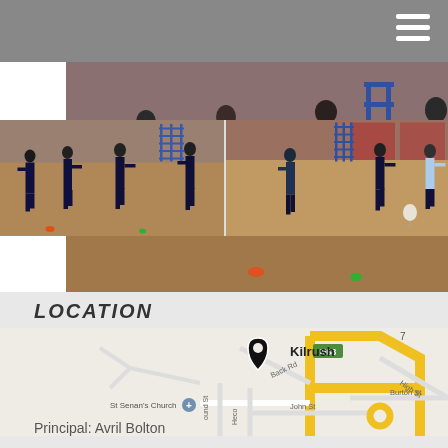[Figure (photo): Children playing indoor sports/games in a gymnasium with wooden floor, blue equipment in background.]
[Figure (photo): Children playing indoor sports/games in a gymnasium with wooden floor, metal scaffolding/bleachers visible.]
LOCATION
[Figure (map): Google Maps screenshot showing Kilrush town map with a location pin marker. Shows St Senan's Church, N68, N67, R473 road labels, High St, Burton St, John St, Back Rd street names.]
Principal: Avril Bolton